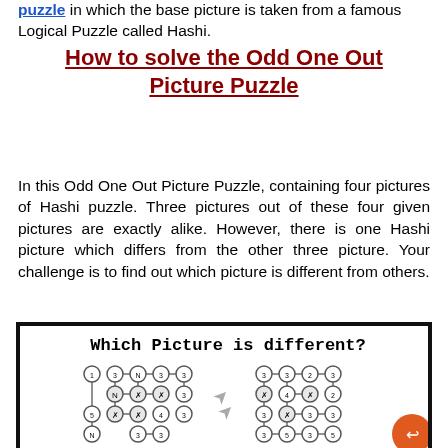puzzle in which the base picture is taken from a famous Logical Puzzle called Hashi.
How to solve the Odd One Out Picture Puzzle
In this Odd One Out Picture Puzzle, containing four pictures of Hashi puzzle. Three pictures out of these four given pictures are exactly alike. However, there is one Hashi picture which differs from the other three picture. Your challenge is to find out which picture is different from others.
[Figure (illustration): Puzzle image titled 'Which Picture is different?' showing four Hashi puzzle grids with circles containing numbers and connecting lines.]